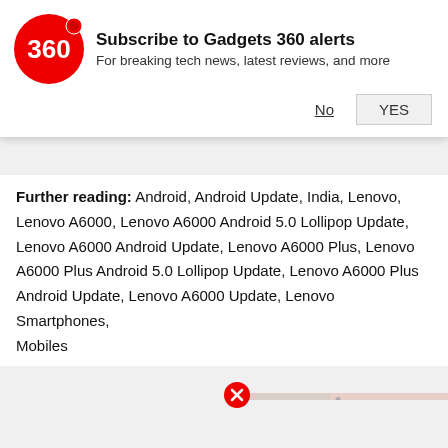[Figure (logo): Gadgets 360 red circle logo with '360' text]
Subscribe to Gadgets 360 alerts
For breaking tech news, latest reviews, and more
No  YES
Further reading: Android, Android Update, India, Lenovo, Lenovo A6000, Lenovo A6000 Android 5.0 Lollipop Update, Lenovo A6000 Android Update, Lenovo A6000 Plus, Lenovo A6000 Plus Android 5.0 Lollipop Update, Lenovo A6000 Plus Android Update, Lenovo A6000 Update, Lenovo Smartphones, Mobiles
[Figure (logo): WhatsApp green circle share icon]
[Figure (logo): Facebook blue circle share icon]
[Figure (logo): Twitter blue circle share icon]
[Figure (photo): Video thumbnail showing a black smartphone with a red play button overlay]
Nasa Designs Spacecraft to Hitchhike Across Comets
Compu...